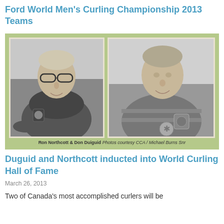Ford World Men's Curling Championship 2013 Teams
[Figure (photo): Black and white photographs of Ron Northcott and Don Duiguid, two curlers, side by side on a green background. Caption reads: Ron Northcott & Don Duiguid Photos courtesy CCA / Michael Burns Snr]
Ron Northcott & Don Duiguid Photos courtesy CCA / Michael Burns Snr
Duguid and Northcott inducted into World Curling Hall of Fame
March 26, 2013
Two of Canada's most accomplished curlers will be